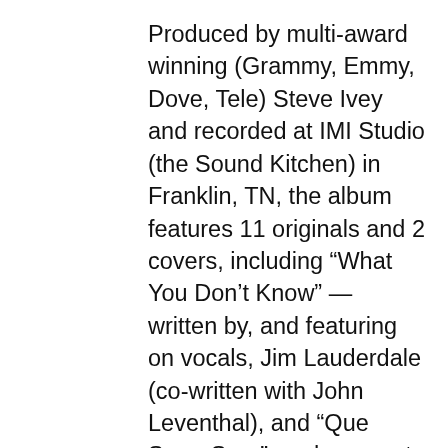Produced by multi-award winning (Grammy, Emmy, Dove, Tele) Steve Ivey and recorded at IMI Studio (the Sound Kitchen) in Franklin, TN, the album features 11 originals and 2 covers, including “What You Don’t Know” — written by, and featuring on vocals, Jim Lauderdale (co-written with John Leventhal), and “Que Sera, Sera”, an homage to their grandfather, Ronald Chace, who sang with Doris Day in the early ‘40s. Joining Brechyn Chace (lead and backup vocals, accordion on “Poor Dear,” vibraslap on “Conococheague,” harmonica on “The World Knows Far Better) and Larissa Chace Smith (lead and backup vocals, acoustic guitar) in the studio are